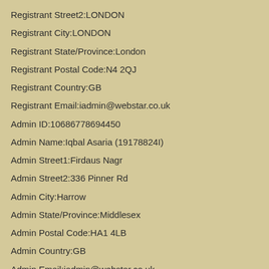Registrant Street2:LONDON
Registrant City:LONDON
Registrant State/Province:London
Registrant Postal Code:N4 2QJ
Registrant Country:GB
Registrant Email:iadmin@webstar.co.uk
Admin ID:10686778694450
Admin Name:Iqbal Asaria (19178824I)
Admin Street1:Firdaus Nagr
Admin Street2:336 Pinner Rd
Admin City:Harrow
Admin State/Province:Middlesex
Admin Postal Code:HA1 4LB
Admin Country:GB
Admin Email:iadmin@webstar.co.uk
Tech ID:10686778701080
Tech Name:Iqbal Asaria